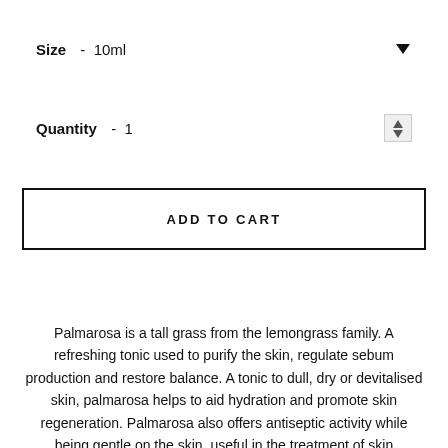Size  -  10ml
Quantity  -  1
ADD TO CART
Palmarosa is a tall grass from the lemongrass family. A refreshing tonic used to purify the skin, regulate sebum production and restore balance. A tonic to dull, dry or devitalised skin, palmarosa helps to aid hydration and promote skin regeneration. Palmarosa also offers antiseptic activity while being gentle on the skin, useful in the treatment of skin blemishes, fungal conditions, eczema and